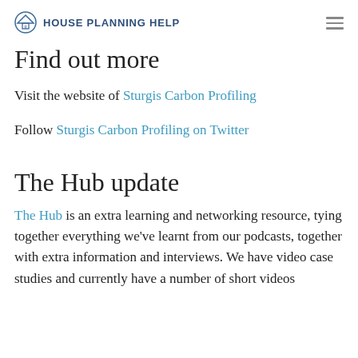House Planning Help
Find out more
Visit the website of Sturgis Carbon Profiling
Follow Sturgis Carbon Profiling on Twitter
The Hub update
The Hub is an extra learning and networking resource, tying together everything we've learnt from our podcasts, together with extra information and interviews. We have video case studies and currently have a number of short videos